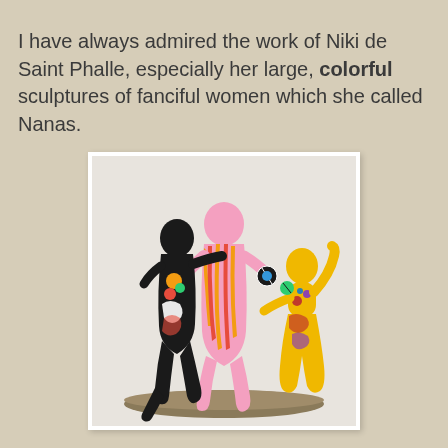I have always admired the work of Niki de Saint Phalle, especially her large, colorful sculptures of fanciful women which she called Nanas.
[Figure (photo): Three colorful Nana sculptures by Niki de Saint Phalle on a circular base: a black figure on the left with colorful patterns, a large pink figure in the center with orange/yellow/red stripes, and a yellow figure on the right with multicolored patterns. The figures are voluptuous, dancing women in exuberant poses.]